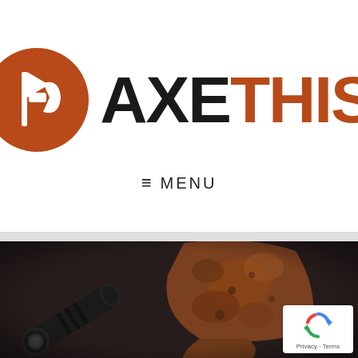[Figure (logo): AxeThis logo: brown circle with white axe and flag icon, followed by bold text 'AXE' in black and 'THIS' in brown/rust color]
≡  MENU
[Figure (photo): Dark background photo showing a black tactical flashlight on the left and a rusty/worn hatchet axe head on the right with a wooden handle visible at the bottom right]
[Figure (other): Google reCAPTCHA badge with blue recycling-arrow icon and 'Privacy · Terms' text]